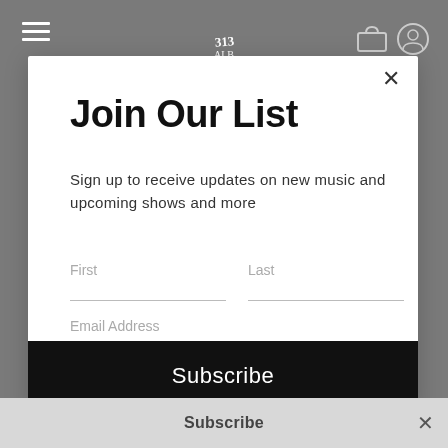[Figure (screenshot): Website header with hamburger menu icon on left, stylized logo in center, cart and profile icons on right, on a dark gray background]
Join Our List
Sign up to receive updates on new music and upcoming shows and more
First
Last
Email Address
Subscribe
Subscribe